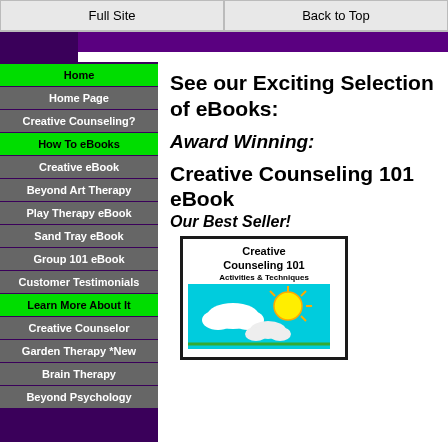Full Site | Back to Top
Home
Home Page
Creative Counseling?
How To eBooks
Creative eBook
Beyond Art Therapy
Play Therapy eBook
Sand Tray eBook
Group 101 eBook
Customer Testimonials
Learn More About It
Creative Counselor
Garden Therapy *New
Brain Therapy
Beyond Psychology
See our Exciting Selection of eBooks:
Award Winning:
Creative Counseling 101 eBook
Our Best Seller!
[Figure (illustration): Book cover of Creative Counseling 101 showing title, subtitle 'Activities & Techniques', and a cartoon sun and clouds on cyan background]